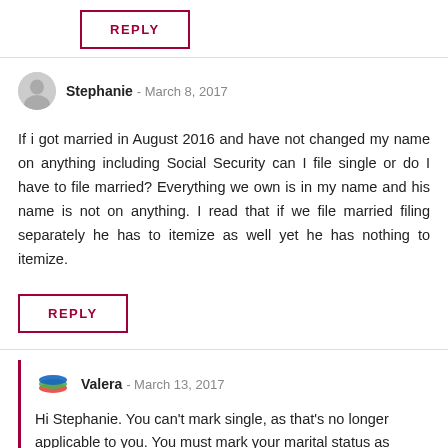REPLY
Stephanie - March 8, 2017
If i got married in August 2016 and have not changed my name on anything including Social Security can I file single or do I have to file married? Everything we own is in my name and his name is not on anything. I read that if we file married filing separately he has to itemize as well yet he has nothing to itemize.
REPLY
Valera - March 13, 2017
Hi Stephanie. You can't mark single, as that's no longer applicable to you. You must mark your marital status as